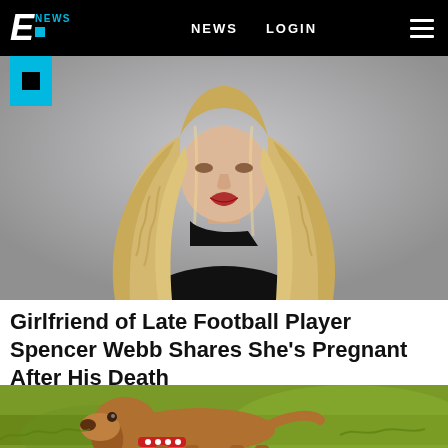E! NEWS   NEWS   LOGIN
[Figure (photo): Woman with long wavy blonde hair wearing a black top, looking upward, against a grey background. E! News blue logo icon overlaid in top left corner.]
Girlfriend of Late Football Player Spencer Webb Shares She’s Pregnant After His Death
[Figure (photo): Brown Vizsla puppy dog with a red polka-dot collar standing in a grassy field.]